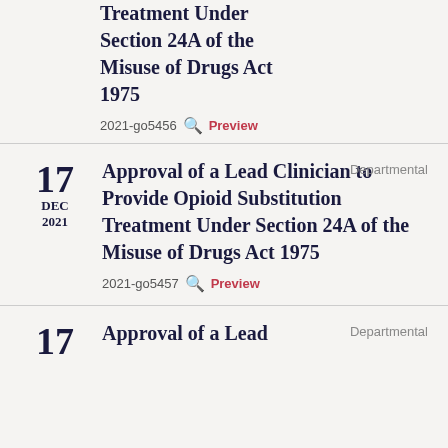Treatment Under Section 24A of the Misuse of Drugs Act 1975
2021-go5456  Preview
17 DEC 2021 — Approval of a Lead Clinician to Provide Opioid Substitution Treatment Under Section 24A of the Misuse of Drugs Act 1975 — Departmental — 2021-go5457 Preview
17 — Approval of a Lead (partial, cut off)